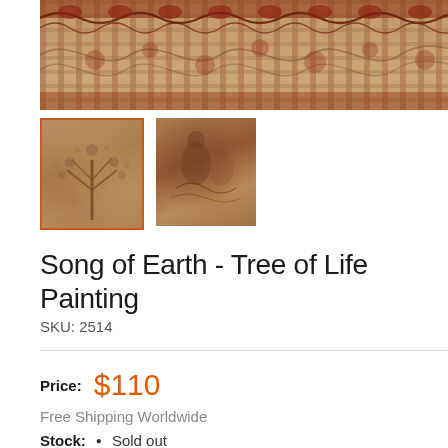[Figure (photo): Top cropped portion of a decorative Indian painting with ornate scrollwork border in red and brown on beige/cream background]
[Figure (photo): Two thumbnail images below the main image: first (active/selected) shows a tree of life painting in brown tones with orange border, second shows figures in a painting scene]
Song of Earth - Tree of Life Painting
SKU: 2514
Price: $110
Free Shipping Worldwide
Stock: • Sold out